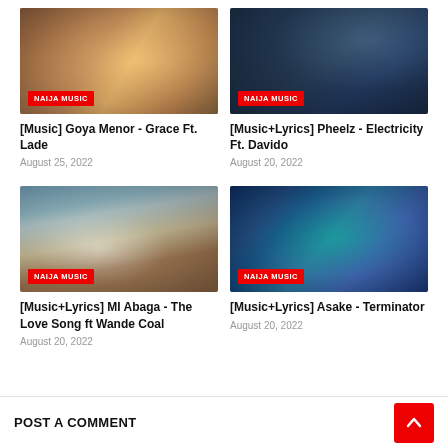[Figure (photo): Photo of Goya Menor and Lade with NAIJA MUSIC badge]
[Music] Goya Menor - Grace Ft. Lade
August 25, 2022
[Figure (photo): Photo of Pheelz with NAIJA MUSIC badge]
[Music+Lyrics] Pheelz - Electricity Ft. Davido
August 20, 2022
[Figure (photo): Photo of MI Abaga with NAIJA MUSIC badge]
[Music+Lyrics] MI Abaga - The Love Song ft Wande Coal
August 20, 2022
[Figure (photo): Illustration for Asake - Terminator with NAIJA MUSIC badge]
[Music+Lyrics] Asake - Terminator
August 20, 2022
POST A COMMENT